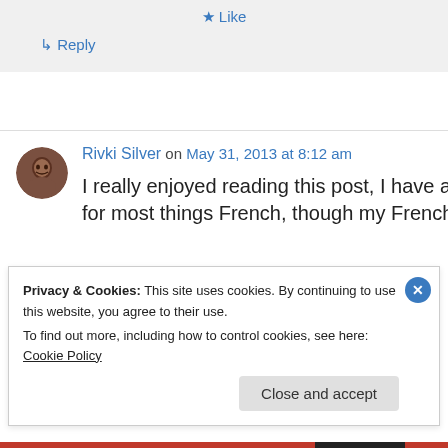★ Like
↳ Reply
Rivki Silver on May 31, 2013 at 8:12 am
I really enjoyed reading this post, I have a love for most things French, though my French skills
Privacy & Cookies: This site uses cookies. By continuing to use this website, you agree to their use. To find out more, including how to control cookies, see here: Cookie Policy
Close and accept